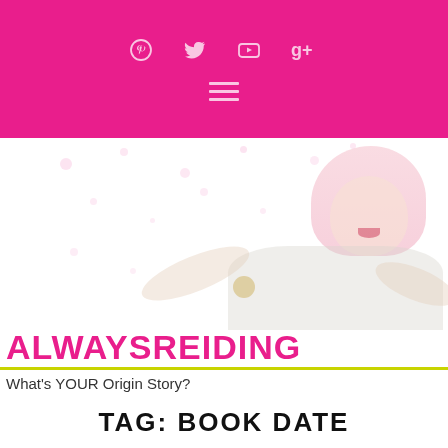Social icons: Pinterest, Twitter, YouTube, Google+; Hamburger menu
[Figure (photo): Website header screenshot showing a pink navigation bar with social icons (Pinterest, Twitter, YouTube, Google+) and hamburger menu, a hero area with a smiling woman with pink/blonde hair and white outfit against white background with pink confetti, the blog logo 'ALWAYSREIDING' in bold pink text, a lime-yellow underline, a tagline 'What's YOUR Origin Story?', and a page tag heading 'TAG: BOOK DATE']
ALWAYSREIDING
What's YOUR Origin Story?
TAG: BOOK DATE